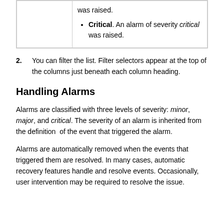|  | was raised.

Critical. An alarm of severity critical was raised. |
2. You can filter the list. Filter selectors appear at the top of the columns just beneath each column heading.
Handling Alarms
Alarms are classified with three levels of severity: minor, major, and critical. The severity of an alarm is inherited from the definition of the event that triggered the alarm.
Alarms are automatically removed when the events that triggered them are resolved. In many cases, automatic recovery features handle and resolve events. Occasionally, user intervention may be required to resolve the issue.